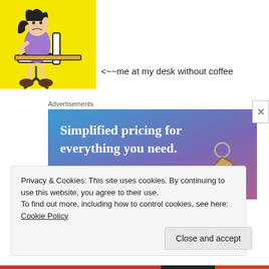[Figure (illustration): Hand-drawn cartoon of a grumpy woman with dark hair sitting at a desk on a yellow background]
<~~me at my desk without coffee
Advertisements
[Figure (screenshot): Advertisement banner: 'Simplified pricing for everything you need.' with a 'Build Your Website' button and a price tag image]
Privacy & Cookies: This site uses cookies. By continuing to use this website, you agree to their use.
To find out more, including how to control cookies, see here: Cookie Policy
Close and accept